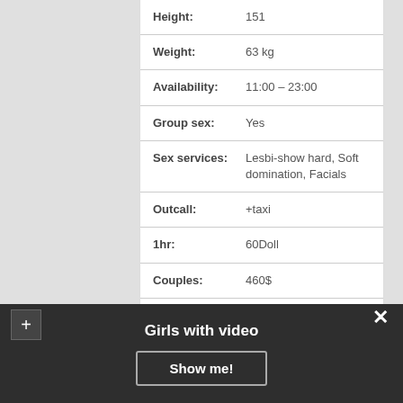| Field | Value |
| --- | --- |
| Height: | 151 |
| Weight: | 63 kg |
| Availability: | 11:00 – 23:00 |
| Group sex: | Yes |
| Sex services: | Lesbi-show hard, Soft domination, Facials |
| Outcall: | +taxi |
| 1hr: | 60Doll |
| Couples: | 460$ |
| Brust: | C |
VIDEO
Girls with video
Show me!